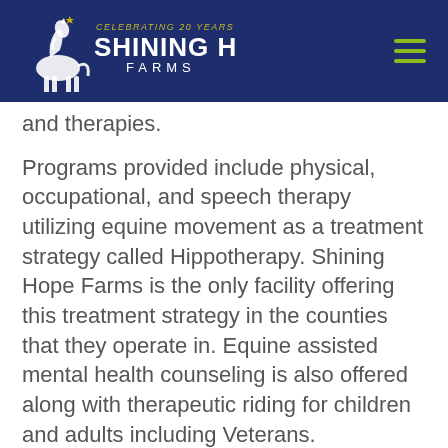Shining Hope Farms — Celebrating 20 Years
and therapies.
Programs provided include physical, occupational, and speech therapy utilizing equine movement as a treatment strategy called Hippotherapy. Shining Hope Farms is the only facility offering this treatment strategy in the counties that they operate in. Equine assisted mental health counseling is also offered along with therapeutic riding for children and adults including Veterans.
They are a Premier Accredited Center of PATH Intl. (Professional Association of Therapeutic Horsemanship, International) as well as a member of the American Hippotherapy